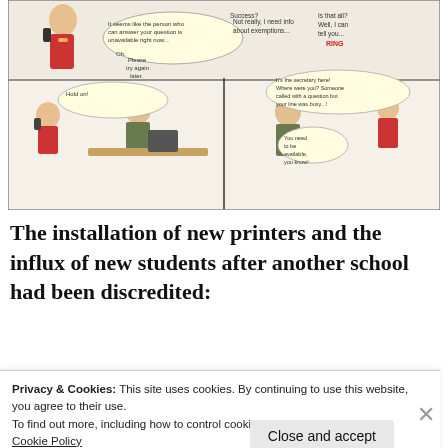[Figure (illustration): A comic strip showing characters making phone calls about exemptions. Speech bubbles include: 'It seems like the person who can answer your question is unavailable right now...', 'Oh. Please try again later.', 'Success?', 'Not really, I need info about exemptions...', 'Is that all? Well, I can tell you... RING', 'Hold on!', 'It's the secretary here! Where were you? Someone called with a question but your line was busy...!', 'You need to be available, you know!']
The installation of new printers and the influx of new students after another school had been discredited:
Privacy & Cookies: This site uses cookies. By continuing to use this website, you agree to their use.
To find out more, including how to control cookies, see here:
Cookie Policy